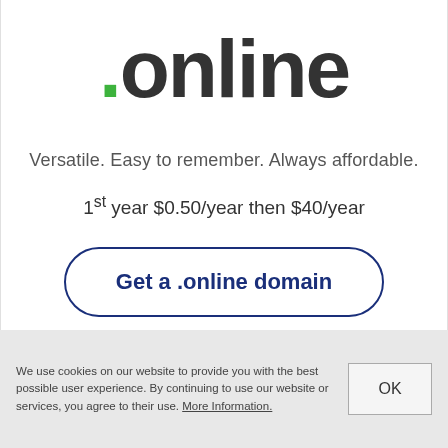[Figure (logo): .online domain registrar logo with green dot and dark gray text]
Versatile. Easy to remember. Always affordable.
1st year $0.50/year then $40/year
Get a .online domain
We use cookies on our website to provide you with the best possible user experience. By continuing to use our website or services, you agree to their use. More Information.